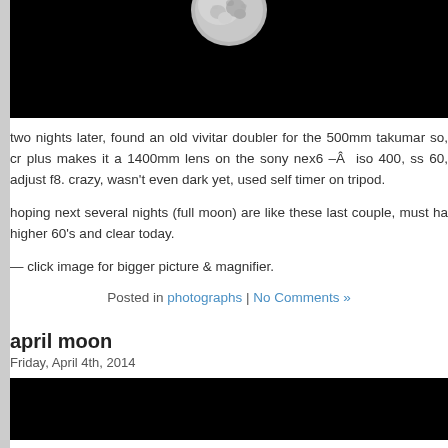[Figure (photo): Photograph of the moon against a black background, showing the top portion of the moon, partially cropped.]
two nights later, found an old vivitar doubler for the 500mm takumar so, cr plus makes it a 1400mm lens on the sony nex6 –Â  iso 400, ss 60, adjust f8. crazy, wasn't even dark yet, used self timer on tripod.
hoping next several nights (full moon) are like these last couple, must ha higher 60's and clear today.
— click image for bigger picture & magnifier.
Posted in photographs | No Comments »
april moon
Friday, April 4th, 2014
[Figure (photo): Photograph of the moon against a black background, bottom portion of the page, predominantly dark.]